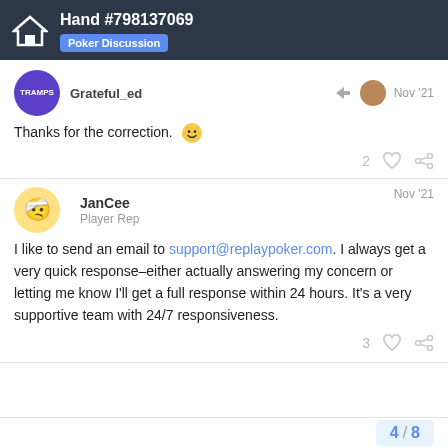Hand #798137069 — Poker Discussion
Grateful_ed  Nov '21
Thanks for the correction. 😊
JanCee  Nov '21
Player Rep
I like to send an email to support@replaypoker.com. I always get a very quick response–either actually answering my concern or letting me know I'll get a full response within 24 hours. It's a very supportive team with 24/7 responsiveness.
4 / 8